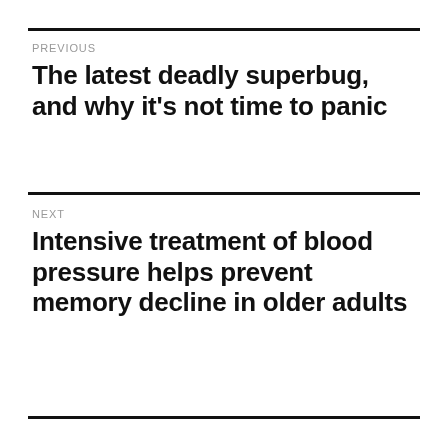PREVIOUS
The latest deadly superbug, and why it’s not time to panic
NEXT
Intensive treatment of blood pressure helps prevent memory decline in older adults